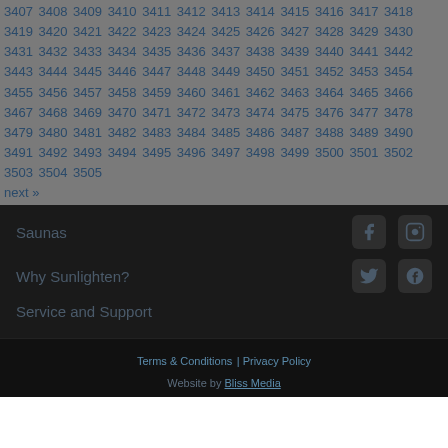3407 3408 3409 3410 3411 3412 3413 3414 3415 3416 3417 3418 3419 3420 3421 3422 3423 3424 3425 3426 3427 3428 3429 3430 3431 3432 3433 3434 3435 3436 3437 3438 3439 3440 3441 3442 3443 3444 3445 3446 3447 3448 3449 3450 3451 3452 3453 3454 3455 3456 3457 3458 3459 3460 3461 3462 3463 3464 3465 3466 3467 3468 3469 3470 3471 3472 3473 3474 3475 3476 3477 3478 3479 3480 3481 3482 3483 3484 3485 3486 3487 3488 3489 3490 3491 3492 3493 3494 3495 3496 3497 3498 3499 3500 3501 3502 3503 3504 3505
next »
Saunas
Why Sunlighten?
Service and Support
Terms & Conditions | Privacy Policy
Website by Bliss Media